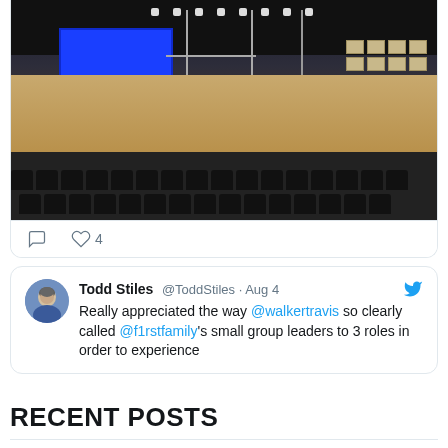[Figure (photo): Interior of a church/event venue under construction, showing scaffolding, a large blue screen, stage floor, and rows of black chairs in the foreground]
♡ 4
Todd Stiles @ToddStiles · Aug 4
Really appreciated the way @walkertravis so clearly called @f1rstfamily's small group leaders to 3 roles in order to experience
RECENT POSTS
Seven Days